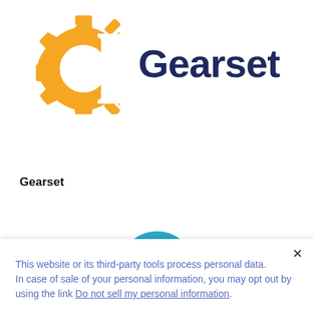[Figure (logo): Gearset logo: orange gear shape on the left and dark navy 'Gearset' text on the right]
Gearset
[Figure (illustration): Teal/blue semicircle shape, top of a user avatar icon]
This website or its third-party tools process personal data.
In case of sale of your personal information, you may opt out by using the link Do not sell my personal information.